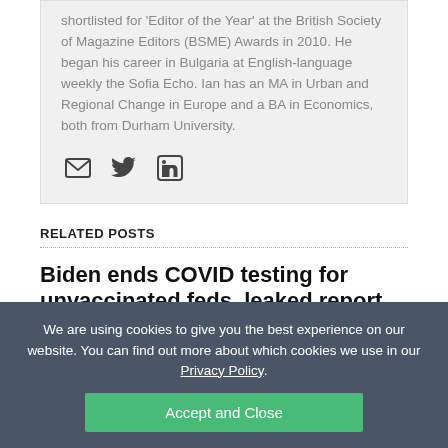shortlisted for 'Editor of the Year' at the British Society of Magazine Editors (BSME) Awards in 2010. He began his career in Bulgaria at English-language weekly the Sofia Echo. Ian has an MA in Urban and Regional Change in Europe and a BA in Economics, both from Durham University.
[Figure (infographic): Social media icons: email envelope, Twitter bird, LinkedIn square logo]
RELATED POSTS
Biden ends COVID testing for unvaccinated feds, leaked report exposes bullying in UK Cabinet Office: management & workforce
We are using cookies to give you the best experience on our website. You can find out more about which cookies we use in our Privacy Policy.
Accept and Close